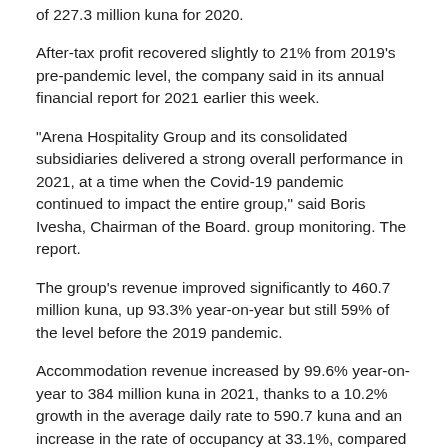of 227.3 million kuna for 2020.
After-tax profit recovered slightly to 21% from 2019's pre-pandemic level, the company said in its annual financial report for 2021 earlier this week.
“Arena Hospitality Group and its consolidated subsidiaries delivered a strong overall performance in 2021, at a time when the Covid-19 pandemic continued to impact the entire group,” said Boris Ivesha, Chairman of the Board. group monitoring. The report.
The group’s revenue improved significantly to 460.7 million kuna, up 93.3% year-on-year but still 59% of the level before the 2019 pandemic.
Accommodation revenue increased by 99.6% year-on-year to 384 million kuna in 2021, thanks to a 10.2% growth in the average daily rate to 590.7 kuna and an increase in the rate of occupancy at 33.1%, compared to 25.4% in 2020.
EBITDA improved to 163.4 million kuna last year, compared to 18.3